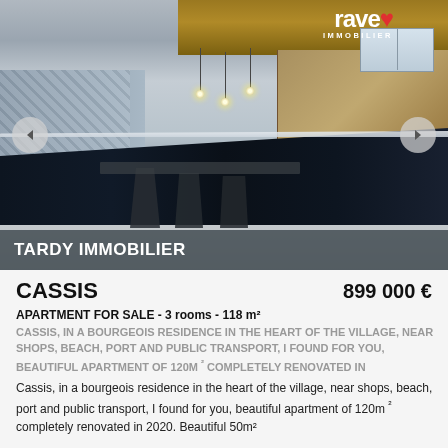[Figure (photo): Interior photo of a renovated kitchen/dining area with dark navy island, pendant lights, wood ceiling, and modern furnishings. Navigation arrows on left and right. Logo 'Tardy IMMOBILIER' top right. Agency banner 'TARDY IMMOBILIER' bottom left.]
CASSIS                                899 000 €
APARTMENT FOR SALE - 3 rooms - 118 m²
CASSIS, IN A BOURGEOIS RESIDENCE IN THE HEART OF THE VILLAGE, NEAR SHOPS, BEACH, PORT AND PUBLIC TRANSPORT, I FOUND FOR YOU, BEAUTIFUL APARTMENT OF 120M ² COMPLETELY RENOVATED IN Cassis, in a bourgeois residence in the heart of the village, near shops, beach, port and public transport, I found for you, beautiful apartment of 120m ² completely renovated in 2020. Beautiful 50m²